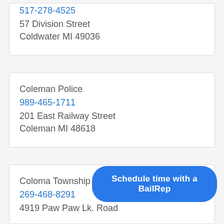517-278-4525
57 Division Street
Coldwater MI 49036
Coleman Police
989-465-1711
201 East Railway Street
Coleman MI 48618
Coloma Township Police
269-468-8291
4919 Paw Paw Lk. Road
Schedule time with a BailRep